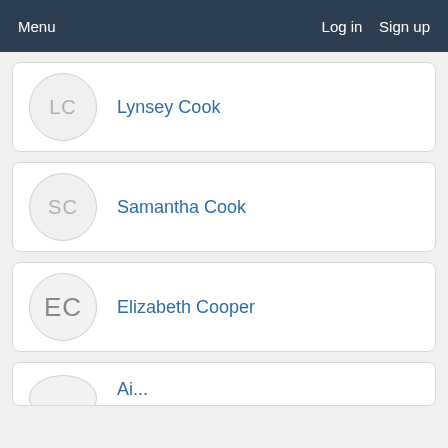Menu   Log in   Sign up
Lynsey Cook
Samantha Cook
Elizabeth Cooper
Airn... C...